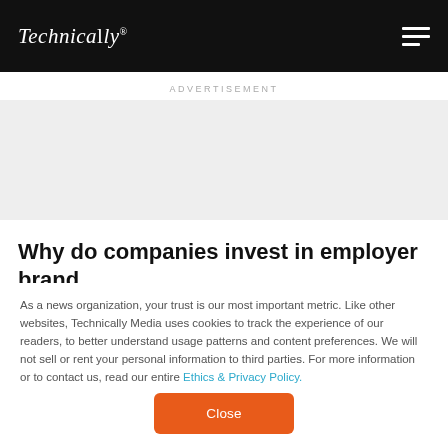Technically
ADVERTISEMENT
Why do companies invest in employer brand
As a news organization, your trust is our most important metric. Like other websites, Technically Media uses cookies to track the experience of our readers, to better understand usage patterns and content preferences. We will not sell or rent your personal information to third parties. For more information or to contact us, read our entire Ethics & Privacy Policy.
Close